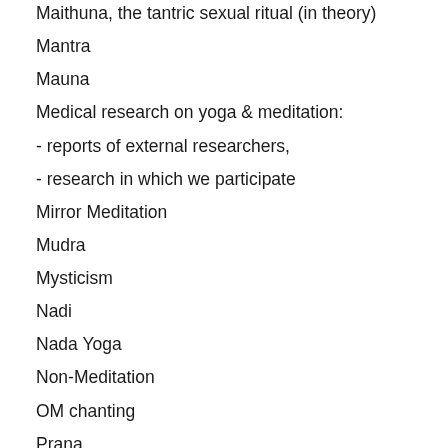Maithuna, the tantric sexual ritual (in theory)
Mantra
Mauna
Medical research on yoga & meditation:
- reports of external researchers,
- research in which we participate
Mirror Meditation
Mudra
Mysticism
Nadi
Nada Yoga
Non-Meditation
OM chanting
Prana
Prana Vidya
Pranayama